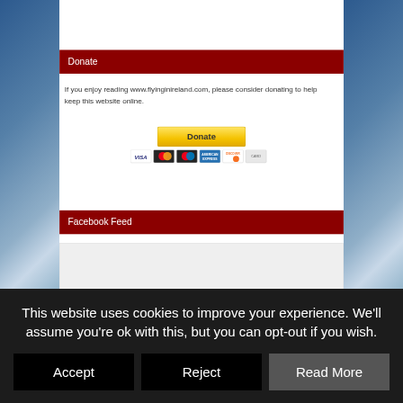Donate
If you enjoy reading www.flyinginireland.com, please consider donating to help keep this website online.
[Figure (other): PayPal Donate button with credit card icons (Visa, Mastercard, Maestro, American Express, Discover, and one more)]
Facebook Feed
[Figure (other): Empty grey Facebook Feed embed box]
This website uses cookies to improve your experience. We'll assume you're ok with this, but you can opt-out if you wish.
Accept
Reject
Read More